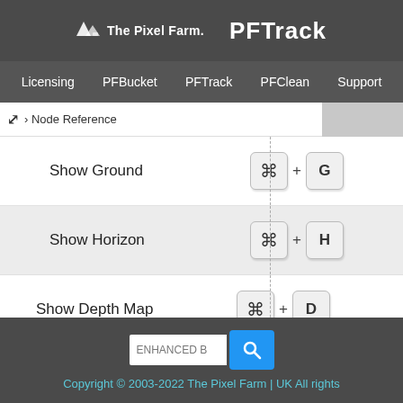The Pixel Farm. PFTrack
Licensing  PFBucket  PFTrack  PFClean  Support
> Node Reference
| Action | Shortcut |
| --- | --- |
| Show Ground | ⌘ + G |
| Show Horizon | ⌘ + H |
| Show Depth Map | ⌘ + D |
| Show Depth Mesh | ⌘ + P |
Copyright © 2003-2022 The Pixel Farm | UK All rights